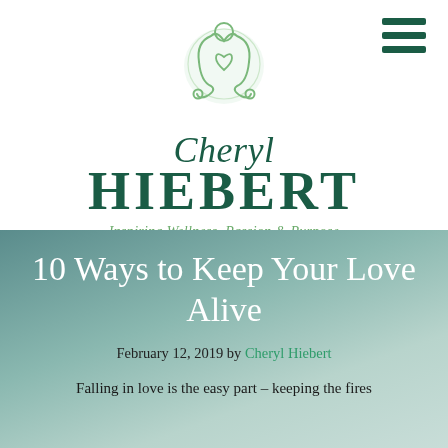[Figure (logo): Cheryl Hiebert logo: stylized meditating figure with a heart, in light green outline, centered at top]
Cheryl Hiebert
Inspiring Wellness, Passion & Purpose
10 Ways to Keep Your Love Alive
February 12, 2019 by Cheryl Hiebert
Falling in love is the easy part – keeping the fires